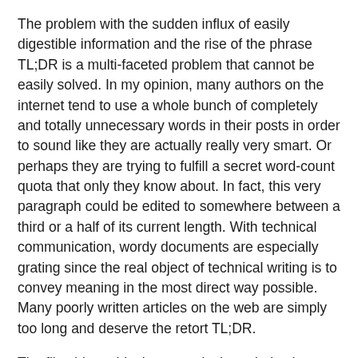The problem with the sudden influx of easily digestible information and the rise of the phrase TL;DR is a multi-faceted problem that cannot be easily solved. In my opinion, many authors on the internet tend to use a whole bunch of completely and totally unnecessary words in their posts in order to sound like they are actually really very smart. Or perhaps they are trying to fulfill a secret word-count quota that only they know about. In fact, this very paragraph could be edited to somewhere between a third or a half of its current length. With technical communication, wordy documents are especially grating since the real object of technical writing is to convey meaning in the most direct way possible. Many poorly written articles on the web are simply too long and deserve the retort TL;DR.
The flip side to this, however, is the unholy plague of listicles (an “article” in the form of a list) posing as real journalism. Seriously,stuff like this is quickly filling the internet, making it harder and harder to find anything of actual substance and...